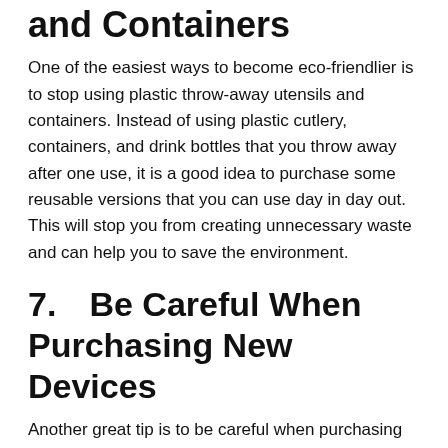and Containers
One of the easiest ways to become eco-friendlier is to stop using plastic throw-away utensils and containers. Instead of using plastic cutlery, containers, and drink bottles that you throw away after one use, it is a good idea to purchase some reusable versions that you can use day in day out. This will stop you from creating unnecessary waste and can help you to save the environment.
7.    Be Careful When Purchasing New Devices
Another great tip is to be careful when purchasing new equipment for home or work. For example, instead of purchasing a desktop computer, which takes a huge amount of energy to manufacture, consider purchasing a tablet or a laptop instead. These items use much less